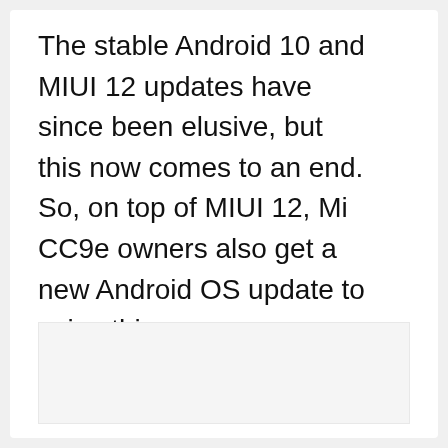The stable Android 10 and MIUI 12 updates have since been elusive, but this now comes to an end. So, on top of MIUI 12, Mi CC9e owners also get a new Android OS update to spice things up.
[Figure (screenshot): UI widget showing a red heart/like button, a count of 3, and a share button with a plus sign, positioned on the right side of the page]
[Figure (photo): Light gray image placeholder area below the main text block]